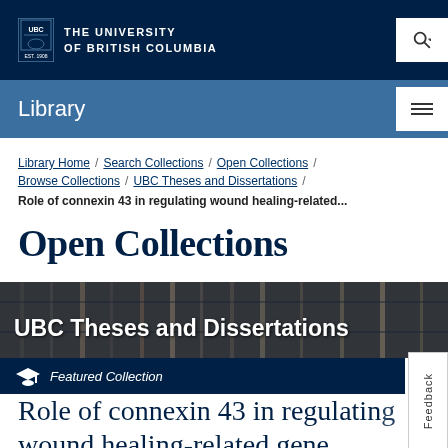THE UNIVERSITY OF BRITISH COLUMBIA
Library
Library Home / Search Collections / Open Collections / Browse Collections / UBC Theses and Dissertations /
Role of connexin 43 in regulating wound healing-related...
Open Collections
[Figure (photo): Photograph of library shelving/archive stacks with overlay text 'UBC Theses and Dissertations']
Featured Collection
Role of connexin 43 in regulating wound healing-related gene